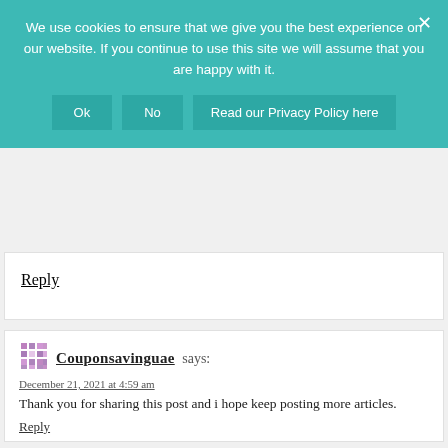[Figure (screenshot): Cookie consent banner with teal background. Text: 'We use cookies to ensure that we give you the best experience on our website. If you continue to use this site we will assume that you are happy with it.' Buttons: Ok, No, Read our Privacy Policy here. X close button top right.]
Reply
Couponsavinguae says:
December 21, 2021 at 4:59 am
Thank you for sharing this post and i hope keep posting more articles.
Reply